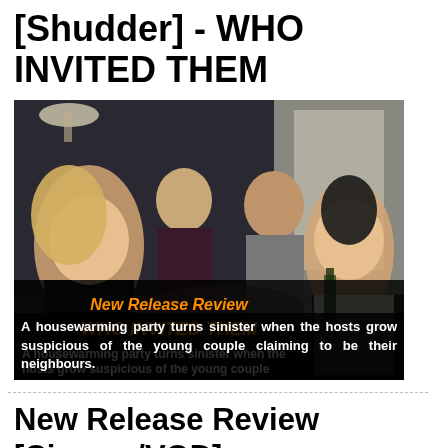[Shudder] - WHO INVITED THEM
[Figure (photo): Movie still from 'Who Invited Them' showing four people seated around a coffee table in a modern living room. Overlaid text reads 'New Release Review WHO INVITED THEM' in orange bold italic font.]
A housewarming party turns sinister when the hosts grow suspicious of the young couple claiming to be their neighbours.
New Release Review [Cinema/VOD] - WILDHOOD